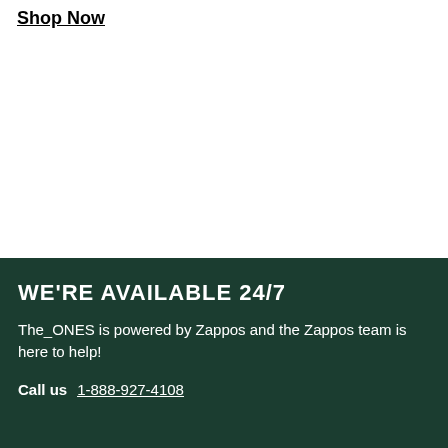Shop Now
WE'RE AVAILABLE 24/7
The_ONES is powered by Zappos and the Zappos team is here to help!
Call us  1-888-927-4108